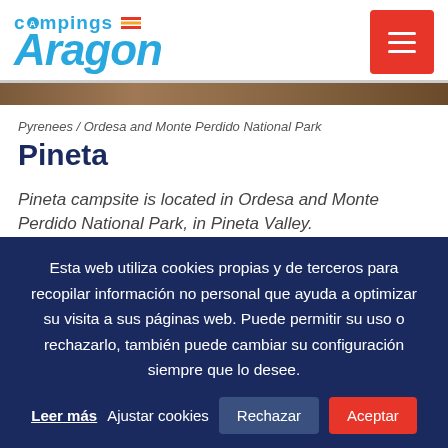[Figure (logo): Campings Aragón logo in blue script with orange flame/stripe accent]
Pyrenees / Ordesa and Monte Perdido National Park
Pineta
Pineta campsite is located in Ordesa and Monte Perdido National Park, in Pineta Valley.
Surrounded by forests of spruce, beech and pines, you ca...
Esta web utiliza cookies propias y de terceros para recopilar información no personal que ayuda a optimizar su visita a sus páginas web. Puede permitir su uso o rechazarlo, también puede cambiar su configuración siempre que lo desee.
Leer más   Ajustar cookies   Rechazar   Aceptar